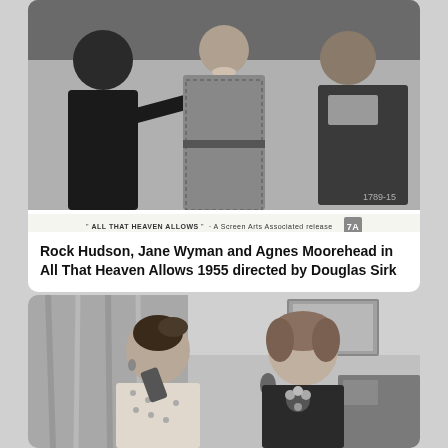[Figure (photo): Black and white movie still from 'All That Heaven Allows' (1955). Three actors standing in a room — a man on the left (dark suit), a woman in the center wearing a patterned coat, and another figure on the right. Below the photo is a caption strip reading: '"ALL THAT HEAVEN ALLOWS" - A Screen Arts Associated release' with a logo. Number '1789-15' appears in bottom right corner of the photo.]
Rock Hudson, Jane Wyman and Agnes Moorehead in All That Heaven Allows 1955 directed by Douglas Sirk
[Figure (photo): Black and white movie still showing two women seated, facing each other in conversation. The woman on the left has dark hair pinned up and wears a light patterned blouse. The woman on the right has lighter wavy hair and wears a dark top with a floral brooch. A painting and furniture are visible in the background.]